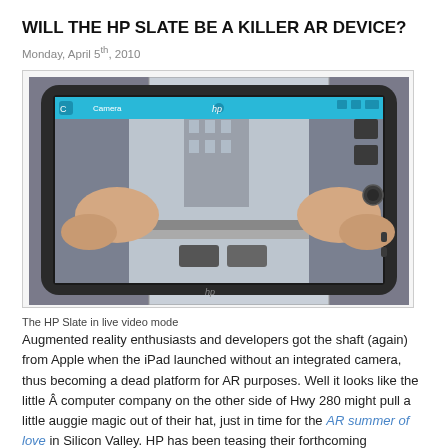WILL THE HP SLATE BE A KILLER AR DEVICE?
Monday, April 5th, 2010
[Figure (photo): Hands holding an HP Slate tablet showing a live camera/video mode interface with a cyan/blue toolbar at top, displaying a view through a window of a building outside. The HP logo is visible on the device.]
The HP Slate in live video mode
Augmented reality enthusiasts and developers got the shaft (again) from Apple when the iPad launched without an integrated camera, thus becoming a dead platform for AR purposes. Well it looks like the little Â computer company on the other side of Hwy 280 might pull a little auggie magic out of their hat, just in time for the AR summer of love in Silicon Valley. HP has been teasing their forthcoming